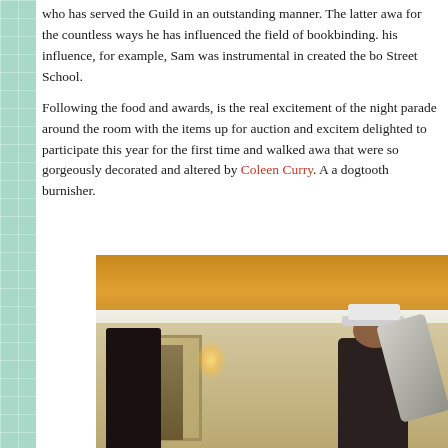who has served the Guild in an outstanding manner. The latter awa for the countless ways he has influenced the field of bookbinding. his influence, for example, Sam was instrumental in created the bo Street School.
Following the food and awards, is the real excitement of the night parade around the room with the items up for auction and excitem delighted to participate this year for the first time and walked awa that were so gorgeously decorated and altered by Coleen Curry. Ar a dogtooth burnisher.
[Figure (photo): Indoor photo of a banquet or hotel ballroom. A person wearing a white cap and dark clothing is visible in the foreground holding a musical instrument (appears to be a trombone). The room has warm golden ceiling, decorative wall paneling, and wall sconces. Another dark figure is visible on the left side.]